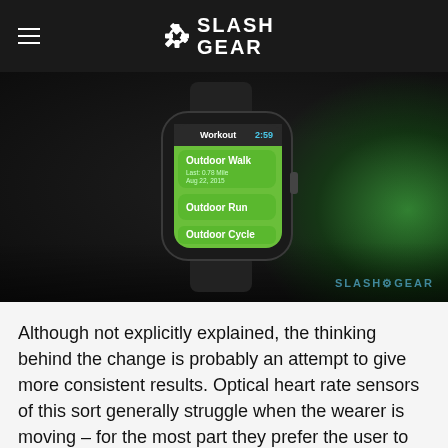SlashGear
[Figure (photo): Apple Watch displayed on a dark surface showing the Workout app screen with green glow, featuring options: Outdoor Walk (Last: 0.78 Mile, Aug 22, 2015), Outdoor Run, Outdoor Cycle. Time shown: 2:59. SlashGear watermark in bottom right.]
Although not explicitly explained, the thinking behind the change is probably an attempt to give more consistent results. Optical heart rate sensors of this sort generally struggle when the wearer is moving – for the most part they prefer the user to be perfectly still while the